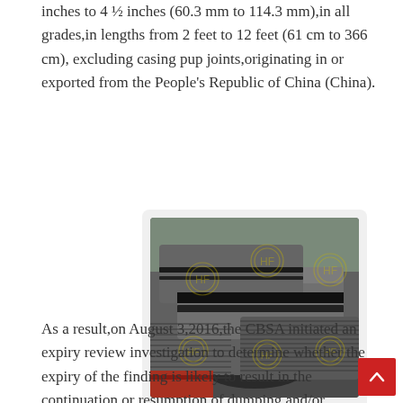inches to 4 ½ inches (60.3 mm to 114.3 mm),in all grades,in lengths from 2 feet to 12 feet (61 cm to 366 cm), excluding casing pup joints,originating in or exported from the People's Republic of China (China).
[Figure (photo): Photo of OCTG coupling joints (large grey threaded steel pipe sections) for oil and gas pipeline, manufactured in China. Multiple large cylindrical pipes with threaded ends visible, watermarked with circular logo.]
OCTG Coupling Joints For Oil & Gas Pipeline Manufactured In China
As a result,on August 3,2016,the CBSA initiated an expiry review investigation to determine whether the expiry of the finding is likely to result in the continuation or resumption of dumping and/or subsidizing